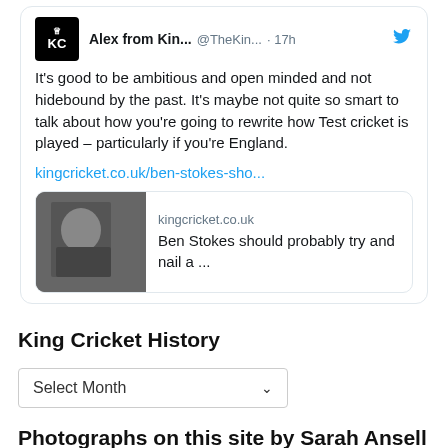[Figure (screenshot): Tweet from Alex from Kin... (@TheKin... · 17h) with King Cricket logo. Text: It's good to be ambitious and open minded and not hidebound by the past. It's maybe not quite so smart to talk about how you're going to rewrite how Test cricket is played – particularly if you're England. Link: kingcricket.co.uk/ben-stokes-sho... with preview card showing kingcricket.co.uk and Ben Stokes should probably try and nail a ...]
King Cricket History
Select Month
Photographs on this site by Sarah Ansell
[Figure (photo): Black photograph thumbnail]